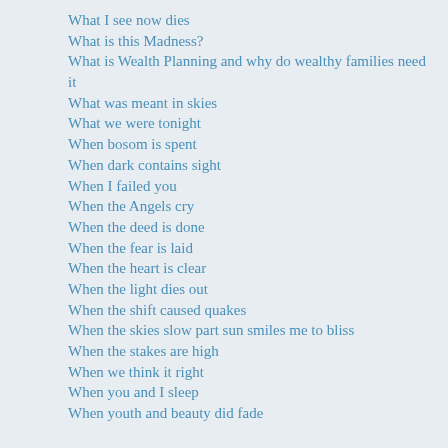What I see now dies
What is this Madness?
What is Wealth Planning and why do wealthy families need it
What was meant in skies
What we were tonight
When bosom is spent
When dark contains sight
When I failed you
When the Angels cry
When the deed is done
When the fear is laid
When the heart is clear
When the light dies out
When the shift caused quakes
When the skies slow part sun smiles me to bliss
When the stakes are high
When we think it right
When you and I sleep
When youth and beauty did fade